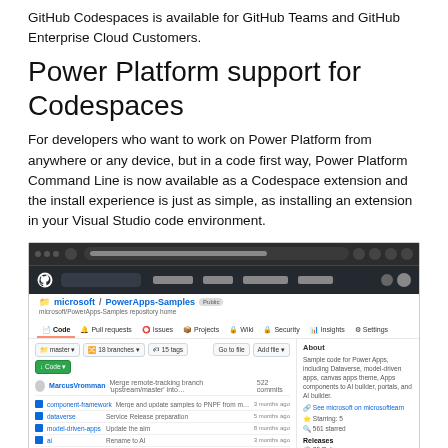GitHub Codespaces is available for GitHub Teams and GitHub Enterprise Cloud Customers.
Power Platform support for Codespaces
For developers who want to work on Power Platform from anywhere or any device, but in a code first way, Power Platform Command Line is now available as a Codespace extension and the install experience is just as simple, as installing an extension in your Visual Studio code environment.
[Figure (screenshot): Screenshot of a GitHub repository page showing the microsoft/PowerApps-Samples repository with file listings, repository info sidebar, language statistics, and a Windows taskbar at the bottom. The page title at the bottom reads 'Power Apps Samples'.]